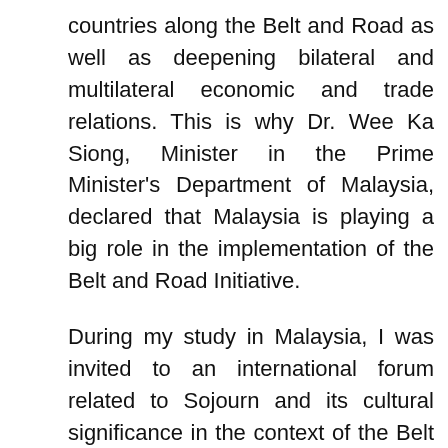countries along the Belt and Road as well as deepening bilateral and multilateral economic and trade relations. This is why Dr. Wee Ka Siong, Minister in the Prime Minister's Department of Malaysia, declared that Malaysia is playing a big role in the implementation of the Belt and Road Initiative.
During my study in Malaysia, I was invited to an international forum related to Sojourn and its cultural significance in the context of the Belt and Road Initiative. As part of the event, a seminar on the subject of cultural affinity was held and presided over by Malaysia's Second Minister for International Trade and Industry Ong Ka Chuan. Well-known scholars Lee Yow Ching, Oh Ei Sun